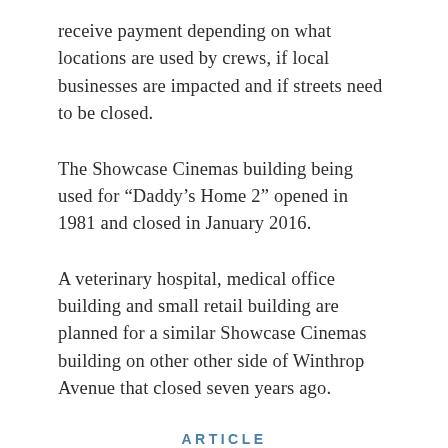receive payment depending on what locations are used by crews, if local businesses are impacted and if streets need to be closed.
The Showcase Cinemas building being used for “Daddy’s Home 2” opened in 1981 and closed in January 2016.
A veterinary hospital, medical office building and small retail building are planned for a similar Showcase Cinemas building on other other side of Winthrop Avenue that closed seven years ago.
ARTICLE